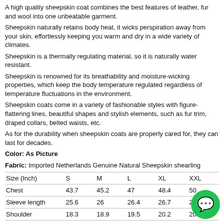A high quality sheepskin coat combines the best features of leather, fur and wool into one unbeatable garment.
Sheepskin naturally retains body heat, it wicks perspiration away from your skin, effortlessly keeping you warm and dry in a wide variety of climates.
Sheepskin is a thermally regulating material, so it is naturally water resistant.
Sheepskin is renowned for its breathability and moisture-wicking properties, which keep the body temperature regulated regardless of temperature fluctuations in the environment.
Sheepskin coats come in a variety of fashionable styles with figure-flattering lines, beautiful shapes and stylish elements, such as fur trim, draped collars, belted waists, etc.
As for the durability when sheepskin coats are properly cared for, they can last for decades.
Color: As Picture
Fabric: Imported Netherlands Genuine Natural Sheepskin shearling
| Size (Inch) | S | M | L | XL | XXL |
| --- | --- | --- | --- | --- | --- |
| Chest | 43.7 | 45.2 | 47 | 48.4 | 50 |
| Sleeve length | 25.6 | 26 | 26.4 | 26.7 | 27 |
| Shoulder | 18.3 | 18.9 | 19.5 | 20.2 | 20.6 |
| B/C Length | 25.4 | 25.7 | 26.1 | 26.5 | 26.8 |
Please check the measurement chart carefully. Because of different producing batches, there may be deviation of 0.25-0.75inch.
SHIPPING: DHL,FEDEX,UPS,TNT
We'll ship the merchandise(s) out within 24-72 hours after receiving your payment, normally your parcel will arrive within 2-4 business days.
PAYMENT: PAYPAL WESTERN UNION
Remarks:
1. Please note that due to limitations in photography and the inevitable differences in